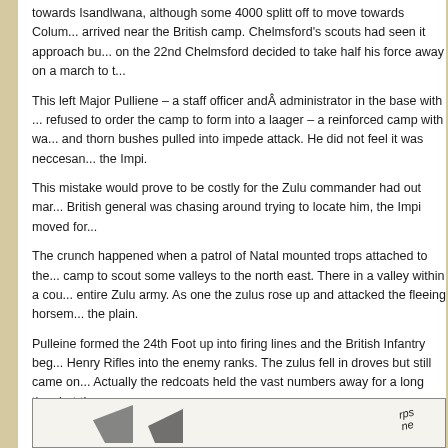towards Isandlwana, although some 4000 splitt off to move towards Colum... arrived near the British camp. Chelmsford's scouts had seen it approach bu... on the 22nd Chelmsford decided to take half his force away on a march to t...
This left Major Pulliene – a staff officer andÂ administrator in the base with ... refused to order the camp to form into a laager – a reinforced camp with wa... and thorn bushes pulled into impede attack. He did not feel it was neccesan... the Impi.
This mistake would prove to be costly for the Zulu commander had out mar... British general was chasing around trying to locate him, the Impi moved for...
The crunch happened when a patrol of Natal mounted trops attached to the... camp to scout some valleys to the north east. There in a valley within a cou... entire Zulu army. As one the zulus rose up and attacked the fleeing horsem... the plain.
Pulleine formed the 24th Foot up into firing lines and the British Infantry beg... Henry Rifles into the enemy ranks. The zulus fell in droves but still came on... Actually the redcoats held the vast numbers away for a long time but then s...
[Figure (illustration): Partial illustration visible at bottom of page, appears to show figures or soldiers, with text 'rps' and 'ne' partially visible.]